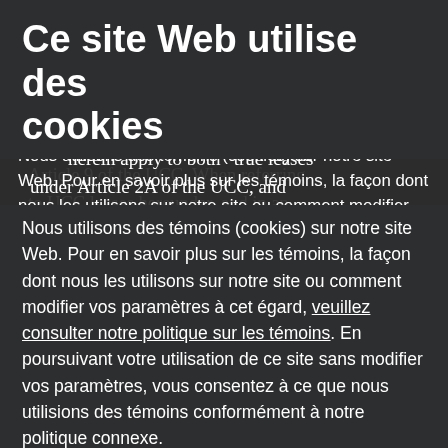Ce site Web utilise des cookies
herein apply to both “true leases” under Article 2A of the UCC, and leases intended as security under Article 9 of the UCC. When referring to UCC leases hereunder, and in an effort to avoid confusion, we will focus exclusively on leases intended as security.
Nous utilisons des témoins (cookies) sur notre site Web. Pour en savoir plus sur les témoins, la façon dont nous les utilisons sur notre site ou comment modifier vos paramètres à cet égard, veuillez consulter notre politique sur les témoins. En poursuivant votre utilisation de ce site sans modifier vos paramètres, vous consentez à ce que nous utilisions des témoins conformément à notre politique connexe.
Conflicts of laws
a. Canadian common law jurisdictions and the U.S.
Acceptez
The “conflicts of law rules,” which exist in each of the PPSAs, Article 9